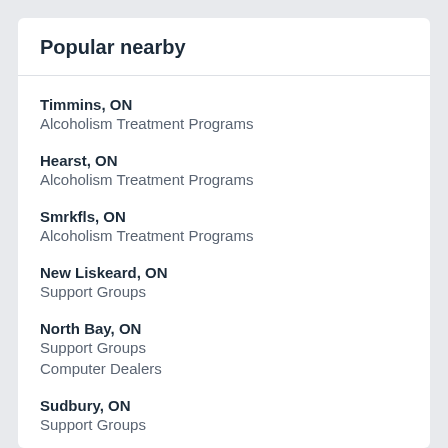Popular nearby
Timmins, ON
Alcoholism Treatment Programs
Hearst, ON
Alcoholism Treatment Programs
Smrkfls, ON
Alcoholism Treatment Programs
New Liskeard, ON
Support Groups
North Bay, ON
Support Groups
Computer Dealers
Sudbury, ON
Support Groups